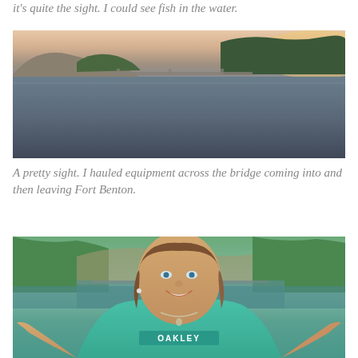it's quite the sight.  I could see fish in the water.
[Figure (photo): Landscape photo of a river at dusk with a bridge in the background, trees on both sides, and hills/bluffs visible. The water is calm and reflective with pink/orange sunset sky.]
A pretty sight.  I hauled equipment across the bridge coming into and then leaving Fort Benton.
[Figure (photo): Selfie photo of a smiling woman with brown hair, wearing a teal/turquoise Oakley t-shirt, taken outdoors near a river with trees and hills in the background.]